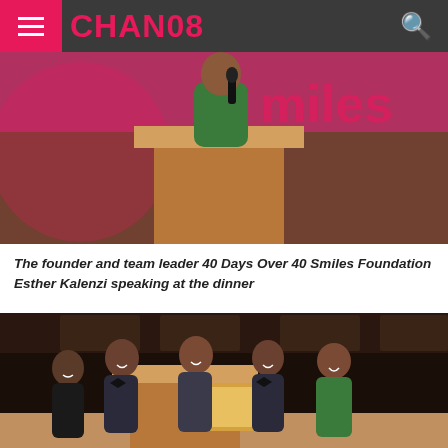CHANO8
[Figure (photo): A woman in a green dress speaking at a podium with a microphone at a 40 Days Over 40 Smiles Foundation event, pink backdrop with 'smiles' text visible]
The founder and team leader 40 Days Over 40 Smiles Foundation Esther Kalenzi speaking at the dinner
[Figure (photo): A group of five people posing at a podium, one holding a certificate/award plaque, at a formal event dinner]